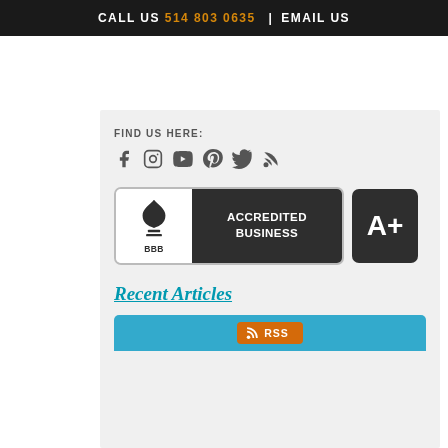CALL US 514 803 0635 | EMAIL US
FIND US HERE:
[Figure (logo): BBB Accredited Business badge with A+ rating]
Recent Articles
[Figure (infographic): RSS feed banner in blue with orange RSS icon and label]